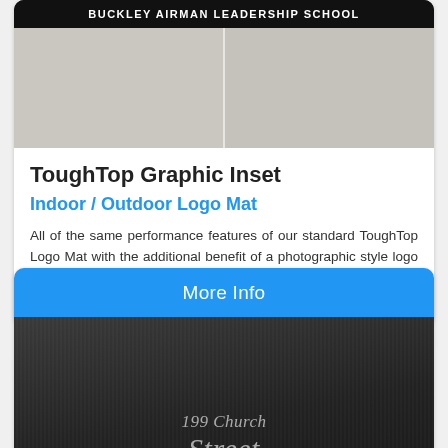[Figure (photo): Photo of a mat with 'BUCKLEY AIRMAN LEADERSHIP SCHOOL' text on dark header, with light gray tiled surface below]
ToughTop Graphic Inset
Indoor / Outdoor Logo Mat
All of the same performance features of our standard ToughTop Logo Mat with the additional benefit of a photographic style logo representation. An ideal choice where there are complex or multiple logos needed.
[Figure (photo): Photo of a dark textured mat with '199 Church Street' text in silver italic serif font]
More Info